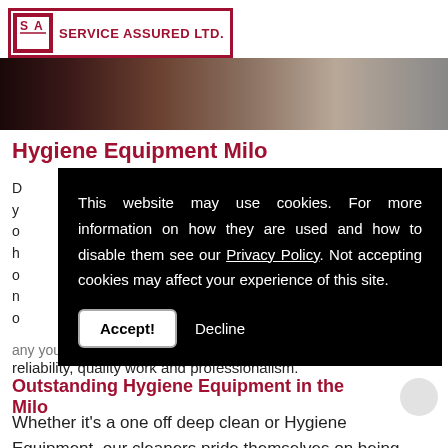[Figure (logo): Service Assured Ltd. logo with SA in a bordered box and company name]
[Figure (photo): Banner image showing a person, dark toned background]
Hygiene Equipment Milo
This website may use cookies. For more information on how they are used and how to disable them see our Privacy Policy. Not accepting cookies may affect your experience of this site.
Accept! Decline
reliability, quality work and professionalism.
Outstanding Hygiene Equipment in the Milo
Whether it's a one off deep clean or Hygiene Equipment, our cleaners pride themselves on being